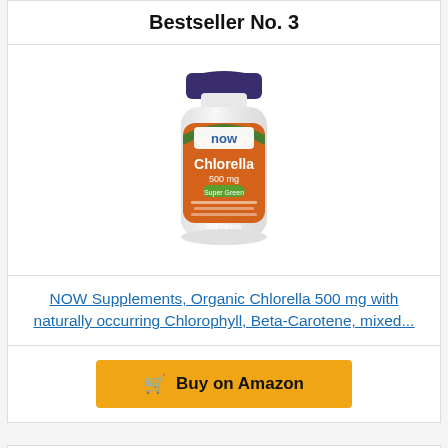Bestseller No. 3
[Figure (photo): NOW Supplements Organic Chlorella 500 mg supplement bottle with orange and green label, 200 tablets]
NOW Supplements, Organic Chlorella 500 mg with naturally occurring Chlorophyll, Beta-Carotene, mixed...
Buy on Amazon
Bestseller No. 4